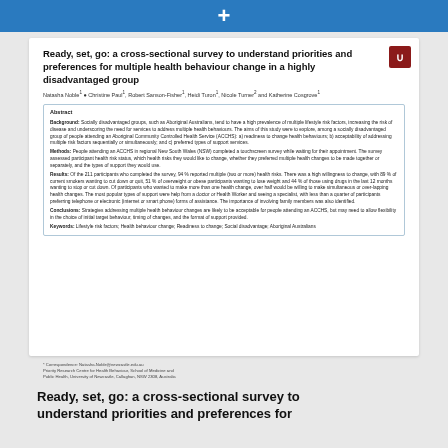+
Ready, set, go: a cross-sectional survey to understand priorities and preferences for multiple health behaviour change in a highly disadvantaged group
Natasha Noble, Christine Paul, Robert Sanson-Fisher, Heidi Turon, Nicole Turner and Katherine Cosgrove
Abstract
Background: Socially disadvantaged groups, such as Aboriginal Australians, tend to have a high prevalence of multiple lifestyle risk factors, increasing the risk of disease and underscoring the need for services to address multiple health behaviours. The aims of this study were to explore, among a socially disadvantaged group of people attending an Aboriginal Community Controlled Health Service (ACCHS): a) readiness to change health behaviours; b) acceptability of addressing multiple risk factors sequentially or simultaneously; and c) preferred types of support services.
Methods: People attending an ACCHS in regional New South Wales (NSW) completed a touchscreen survey while waiting for their appointment. The survey assessed participant health risk status, which health risks they would like to change, whether they preferred multiple health changes to be made together or separately, and the types of support they would use.
Results: Of the 211 participants who completed the survey, 94 % reported multiple (two or more) health risks. There was a high willingness to change, with 89 % of current smokers wanting to cut down or quit, 51 % of overweight or obese participants wanting to lose weight and 44 % of those using drugs in the last 12 months wanting to stop or cut down. Of participants who wanted to make more than one health change, over half would be willing to make simultaneous or over-lapping health changes. The most popular types of support were help from a doctor or Health Worker and seeing a specialist, with less than a quarter of participants preferring telephone or electronic (internet or smart phone) forms of assistance. The importance of involving family members was also identified.
Conclusions: Strategies addressing multiple health behaviour changes are likely to be acceptable for people attending an ACCHS, but may need to allow flexibility in the choice of initial target behaviour, timing of changes, and the format of support provided.
Keywords: Lifestyle risk factors; Health behaviour change; Readiness to change; Social disadvantage; Aboriginal Australians
* Correspondence: Natasha.Noble@newcastle.edu.au
Priority Research Centre for Health Behaviour, School of Medicine and
Public Health, University of Newcastle, Callaghan, NSW 2308, Australia
Ready, set, go: a cross-sectional survey to understand priorities and preferences for